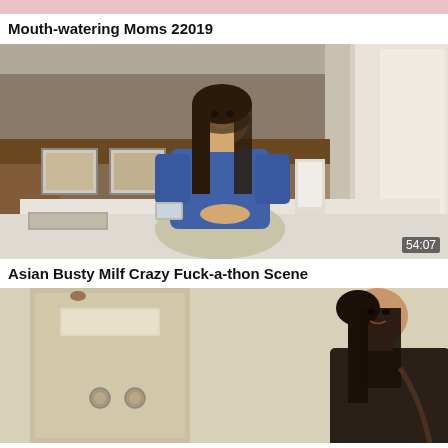[Figure (photo): Partial thumbnail of video at top, cropped pink/light background scene]
Mouth-watering Moms 22019
[Figure (photo): Woman with long dark hair wearing blue floral top and light pants sitting on bed in hotel room, timestamp 54:07]
Asian Busty Milf Crazy Fuck-a-thon Scene
[Figure (photo): Woman with long dark hair wearing dark top standing near a locker or panel, cropped at bottom]